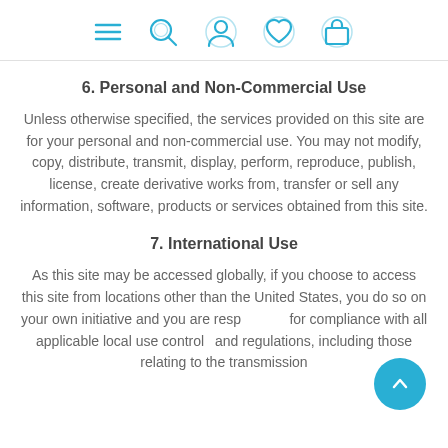[navigation icons: menu, search, account, wishlist, cart]
6. Personal and Non-Commercial Use
Unless otherwise specified, the services provided on this site are for your personal and non-commercial use. You may not modify, copy, distribute, transmit, display, perform, reproduce, publish, license, create derivative works from, transfer or sell any information, software, products or services obtained from this site.
7. International Use
As this site may be accessed globally, if you choose to access this site from locations other than the United States, you do so on your own initiative and you are responsible for compliance with all applicable local use controls and regulations, including those relating to the transmission